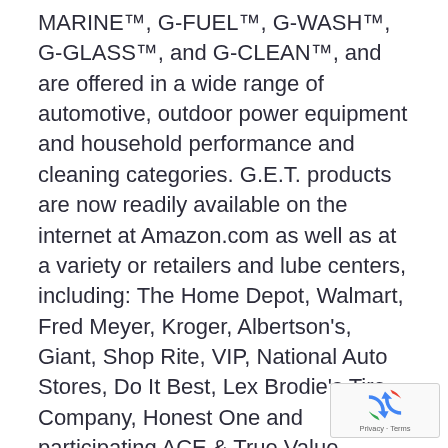MARINE™, G-FUEL™, G-WASH™, G-GLASS™, and G-CLEAN™, and are offered in a wide range of automotive, outdoor power equipment and household performance and cleaning categories. G.E.T. products are now readily available on the internet at Amazon.com as well as at a variety or retailers and lube centers, including: The Home Depot, Walmart, Fred Meyer, Kroger, Albertson's, Giant, Shop Rite, VIP, National Auto Stores, Do It Best, Lex Brodie's Tire Company, Honest One and participating ACE & True Value dealers. Please visit www.getg.com for the latest news and in-depth information about GET and its brands.
[Figure (logo): reCAPTCHA badge with recycling-arrow icon and 'Privacy - Terms' text]